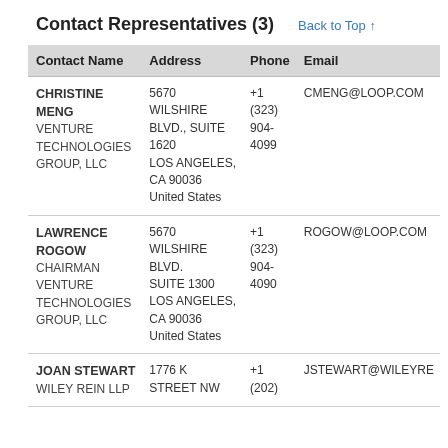Contact Representatives (3)
Back to Top ↑
| Contact Name | Address | Phone | Email |
| --- | --- | --- | --- |
| CHRISTINE MENG
VENTURE TECHNOLOGIES GROUP, LLC | 5670 WILSHIRE BLVD., SUITE 1620
LOS ANGELES, CA 90036
United States | +1 (323) 904-4099 | CMENG@LOOP.COM |
| LAWRENCE ROGOW
CHAIRMAN
VENTURE TECHNOLOGIES GROUP, LLC | 5670 WILSHIRE BLVD.
SUITE 1300
LOS ANGELES, CA 90036
United States | +1 (323) 904-4090 | ROGOW@LOOP.COM |
| JOAN STEWART
WILEY REIN LLP | 1776 K STREET NW | +1 (202) | JSTEWART@WILEYRE |